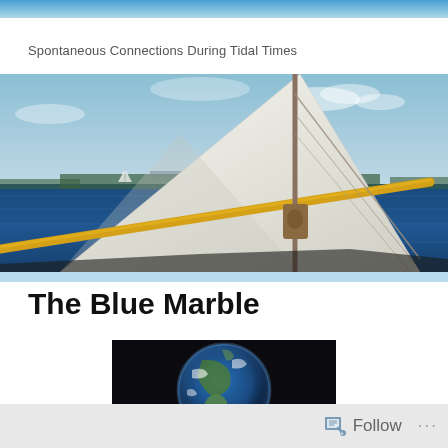Spontaneous Connections During Tidal Times
[Figure (photo): Sailboat on blue water with large white sail and yellow boom, taken from aboard the vessel looking forward. Background shows a calm bay with distant shoreline, trees, bridge, and small sailboats on the horizon under a partly cloudy sky.]
The Blue Marble
[Figure (photo): Photograph of Earth from space showing the planet against a black background, with visible landmasses (Americas), ocean, and cloud cover — the classic 'Blue Marble' image.]
Follow ...